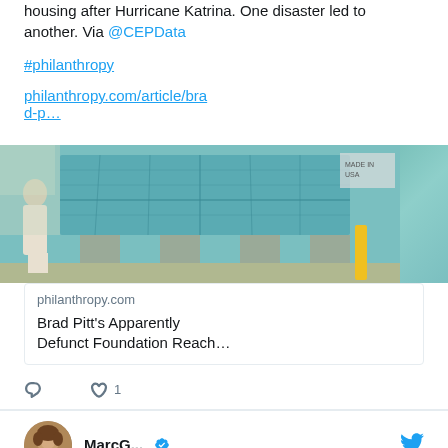housing after Hurricane Katrina. One disaster led to another. Via @CEPData
#philanthropy
philanthropy.com/article/brad-p…
[Figure (photo): Photo of a man in white clothes walking past a house being constructed on concrete blocks outdoors]
philanthropy.com
Brad Pitt's Apparently Defunct Foundation Reach…
1 like
MarcG...